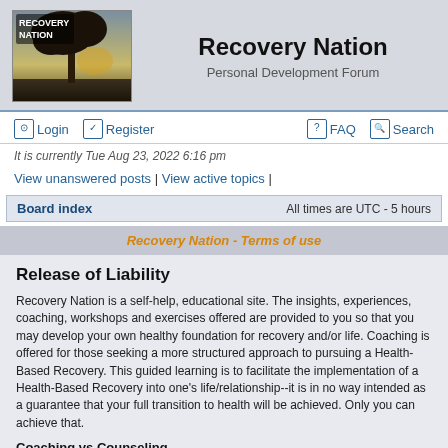[Figure (logo): Recovery Nation logo with tree silhouette against sky, text 'RECOVERY NATION']
Recovery Nation
Personal Development Forum
Login  Register  FAQ  Search
It is currently Tue Aug 23, 2022 6:16 pm
View unanswered posts | View active topics |
Board index  All times are UTC - 5 hours
Recovery Nation - Terms of use
Release of Liability
Recovery Nation is a self-help, educational site. The insights, experiences, coaching, workshops and exercises offered are provided to you so that you may develop your own healthy foundation for recovery and/or life. Coaching is offered for those seeking a more structured approach to pursuing a Health-Based Recovery. This guided learning is to facilitate the implementation of a Health-Based Recovery into one's life/relationship--it is in no way intended as a guarantee that your full transition to health will be achieved. Only you can achieve that.
Coaching vs Counseling